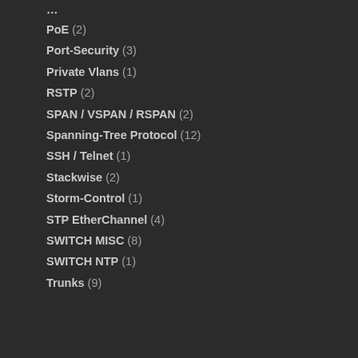PoE (2)
Port-Security (3)
Private Vlans (1)
RSTP (2)
SPAN / VSPAN / RSPAN (2)
Spanning-Tree Protocol (12)
SSH / Telnet (1)
Stackwise (2)
Storm-Control (1)
STP EtherChannel (4)
SWITCH MISC (8)
SWITCH NTP (1)
Trunks (9)